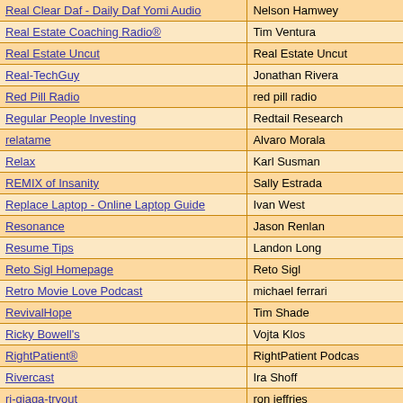| Podcast Name | Author |
| --- | --- |
| Real Clear Daf - Daily Daf Yomi Audio | Nelson Hamwey |
| Real Estate Coaching Radio® | Tim Ventura |
| Real Estate Uncut | Real Estate Uncut |
| Real-TechGuy | Jonathan Rivera |
| Red Pill Radio | red pill radio |
| Regular People Investing | Redtail Research |
| relatame | Alvaro Morala |
| Relax | Karl Susman |
| REMIX of Insanity | Sally Estrada |
| Replace Laptop - Online Laptop Guide | Ivan West |
| Resonance | Jason Renlan |
| Resume Tips | Landon Long |
| Reto Sigl Homepage | Reto Sigl |
| Retro Movie Love Podcast | michael ferrari |
| RevivalHope | Tim Shade |
| Ricky Bowell's | Vojta Klos |
| RightPatient® | RightPatient Podcas |
| Rivercast | Ira Shoff |
| rj-giaga-tryout | ron jeffries |
| RnB and HipHop Essentials Show | Rhodium Baker |
| Rock | Ricky Singh |
| Rockford Fosgate R2 Review - Rockford Fosgate Subs | claire divas |
| ROCKTOPIA | Rafa Llorente |